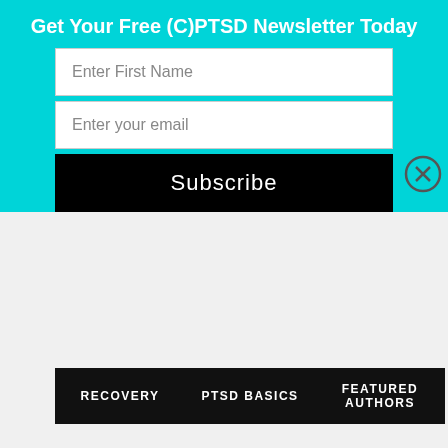Get Your Free (C)PTSD Newsletter Today
Enter First Name
Enter your email
Subscribe
RECOVERY   PTSD BASICS   FEATURED AUTHORS
Shop PTSDWifey: Procedes Go To Forming Non-Profit
Our website uses cookies
This website uses cookies to improve your experience. We'll assume you're ok with this, but you can opt-out if you wish. Cookie settings
Cookie settings   ACCEPT